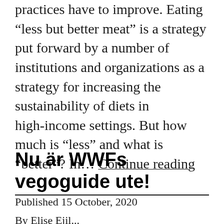practices have to improve. Eating “less but better meat” is a strategy put forward by a number of institutions and organizations as a strategy for increasing the sustainability of diets in high-income settings. But how much is “less” and what is “better”? In… Continue reading
Nu är WWFs vegoguide ute!
Published 15 October, 2020